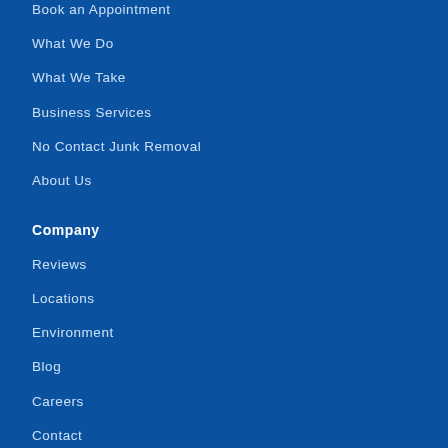Book an Appointment
What We Do
What We Take
Business Services
No Contact Junk Removal
About Us
Company
Reviews
Locations
Environment
Blog
Careers
Contact
Start a Franchise